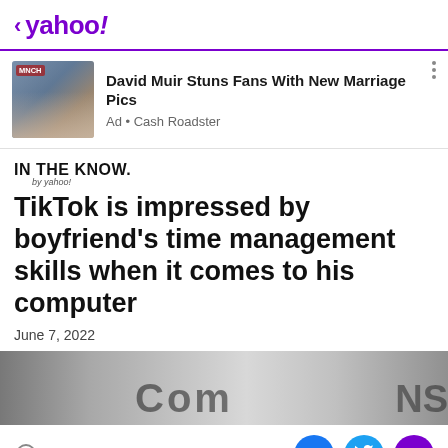< yahoo!
[Figure (photo): Advertisement banner with photo of man and woman, for 'David Muir Stuns Fans With New Marriage Pics' by Cash Roadster]
David Muir Stuns Fans With New Marriage Pics
Ad • Cash Roadster
IN THE KNOW. by yahoo!
TikTok is impressed by boyfriend's time management skills when it comes to his computer
June 7, 2022
[Figure (photo): Close-up photo of computer keyboard keys showing letters including 'Com' and 'NS']
View comments